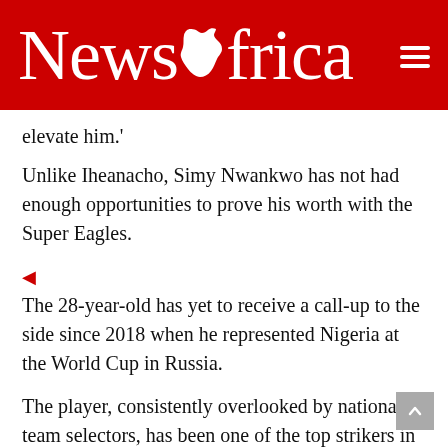NewsAfrica
elevate him.'
Unlike Iheanacho, Simy Nwankwo has not had enough opportunities to prove his worth with the Super Eagles.
The 28-year-old has yet to receive a call-up to the side since 2018 when he represented Nigeria at the World Cup in Russia.
The player, consistently overlooked by national team selectors, has been one of the top strikers in the 2020-21 Italian Serie A season.